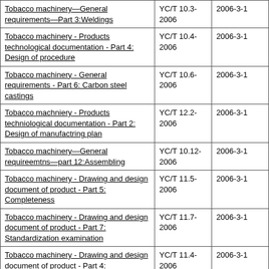| Tobacco machinery—General requirements—Part 3:Weldings | YC/T 10.3-2006 | 2006-3-1 |
| Tobacco machinery - Products technological documentation - Part 4: Design of procedure | YC/T 10.4-2006 | 2006-3-1 |
| Tobacco machinery - General requirements - Part 6: Carbon steel castings | YC/T 10.6-2006 | 2006-3-1 |
| Tobacco machniery - Products techniological documentation - Part 2: Design of manufactring plan | YC/T 12.2-2006 | 2006-3-1 |
| Tobacco machinery—General requireemtns—part 12:Assembling | YC/T 10.12-2006 | 2006-3-1 |
| Tobacco machinery - Drawing and design document of product - Part 5: Completeness | YC/T 11.5-2006 | 2006-3-1 |
| Tobacco machinery - Drawing and design document of product - Part 7: Standardization examination | YC/T 11.7-2006 | 2006-3-1 |
| Tobacco machinery - Drawing and design document of product - Part 4: [partial] | YC/T 11.4-2006 | 2006-3-1 |